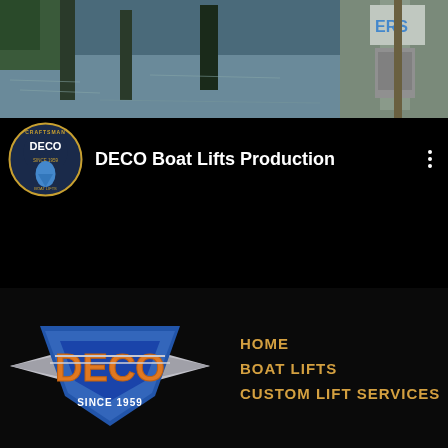[Figure (photo): Top banner photo showing water/river scene on left and an electrical panel or equipment on a pole on right]
[Figure (logo): DECO Boat Lifts circular logo with craftsman badge styling, blue and gold colors]
DECO Boat Lifts Production
[Figure (logo): DECO logo large footer version - blue chevron/wing shape with DECO text in orange, SINCE 1959 below, silver wing accents]
HOME
BOAT LIFTS
CUSTOM LIFT SERVICES